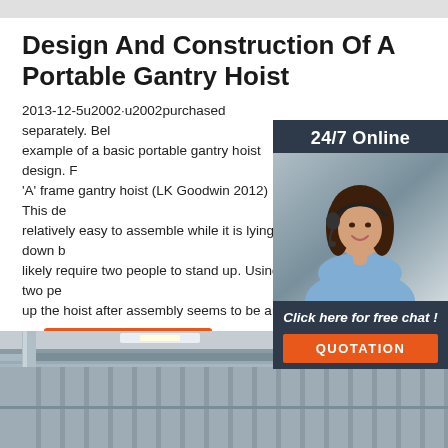Design And Construction Of A Portable Gantry Hoist
2013-12-5u2002·u2002purchased separately. Below is an example of a basic portable gantry hoist design. F 'A' frame gantry hoist (LK Goodwin 2012) This design is relatively easy to assemble while it is lying down but will likely require two people to stand up. Using two people to stand up the hoist after assembly seems to be an
[Figure (photo): Customer service representative woman wearing headset, with 24/7 Online banner and Click here for free chat / QUOTATION button overlay]
[Figure (other): Orange Get Price button]
[Figure (photo): Interior of industrial warehouse or factory building showing steel structure and corrugated metal walls]